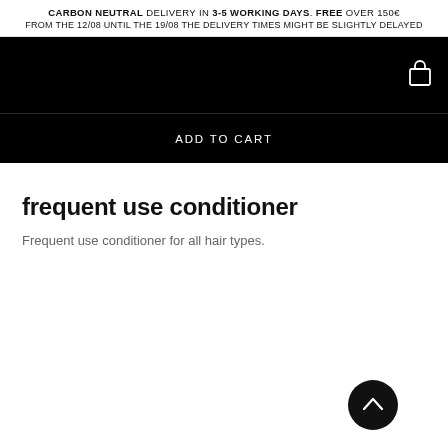CARBON NEUTRAL DELIVERY IN 3-5 WORKING DAYS. FREE OVER 150€ FROM THE 12/08 UNTIL THE 19/08 THE DELIVERY TIMES MIGHT BE SLIGHTLY DELAYED
[Figure (screenshot): Black navigation bar with a white shopping bag/cart icon in the upper right corner]
ADD TO CART
frequent use conditioner
Frequent use conditioner for all hair types.
[Figure (other): Dark circular scroll-to-top button with an upward chevron arrow icon]